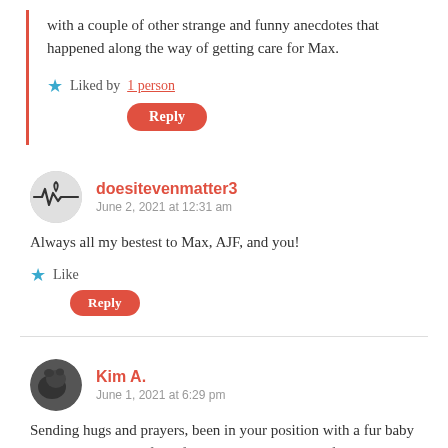with a couple of other strange and funny anecdotes that happened along the way of getting care for Max.
Liked by 1 person
Reply
doesitevenmatter3
June 2, 2021 at 12:31 am
Always all my bestest to Max, AJF, and you!
Like
Reply
Kim A.
June 1, 2021 at 6:29 pm
Sending hugs and prayers, been in your position with a fur baby and I know how awful it feels. Max has the best life, he knows he is loved and well